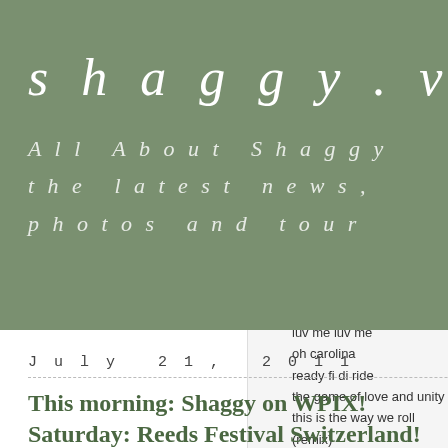shaggy.v
All About Shaggy the latest news, photos and tour
pages:
about
biography
discography
lyrics
bad man don't cry
boombastic
brooklyn & jamaica remix
church heathen
come around remix
fly high lyrics
freaky girl
i can't fight this feeling, flex
intoxication lyrics
luv me luv me
oh carolina
ready fi di ride
the game of love and unity
this is the way we roll (remix)
umbrella remix
wild 2nite
shaggy videos
angel live video
bonafide girl
boombastic live video
church heathen live
July 21, 2011
This morning: Shaggy on WPIX! Saturday: Reeds Festival Switzerland! Next week: Lopez Tonight and One Love Peace Festival UK!
Filed under: